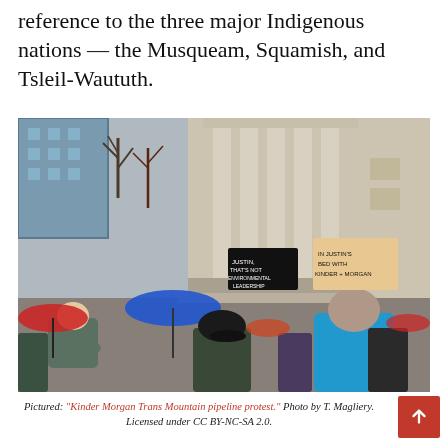reference to the three major Indigenous nations — the Musqueam, Squamish, and Tsleil-Waututh.
[Figure (photo): Outdoor protest rally in front of a large stone building with columns. Protesters hold umbrellas (red, blue) and signs including 'Justin, That's Not Environmental Leadership' and 'Justin's in Bed with Kinder Morgan.' Crowd of people in winter clothing.]
Pictured: "Kinder Morgan Trans Mountain pipeline protest." Photo by T. Magliery. Licensed under CC BY-NC-SA 2.0.